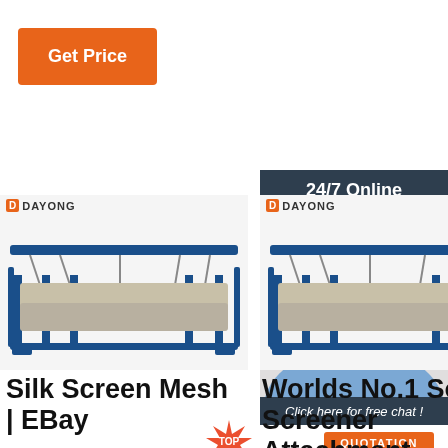Get Price
24/7 Online
[Figure (photo): Customer service representative woman with headset smiling, used for live chat widget]
Click here for free chat !
QUOTATION
[Figure (photo): DAYONG branded industrial soil screener / vibrating screen machine on blue frame - left product]
[Figure (photo): DAYONG branded industrial soil screener / vibrating screen machine on blue frame - right product]
Silk Screen Mesh | EBay
1 Yard - Silk Screen Printing Mesh Fabric 160 White 61T 160 -
Worlds No.1 Soil Screener Attachment -
De Daily Experiences
2021-6-7 · Welcome to the world of Beko. Our story starts in
[Figure (logo): TOP badge/logo in red and orange with star burst design]